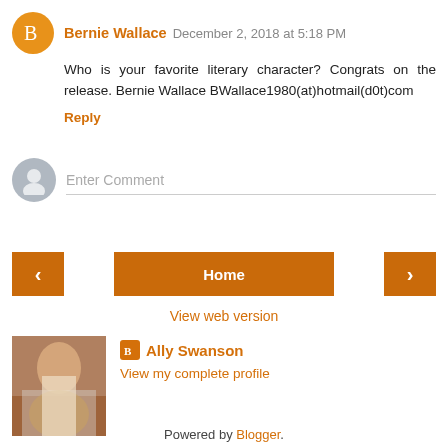Bernie Wallace  December 2, 2018 at 5:18 PM
Who is your favorite literary character? Congrats on the release. Bernie Wallace BWallace1980(at)hotmail(d0t)com
Reply
Enter Comment
Home
View web version
Ally Swanson
View my complete profile
Powered by Blogger.